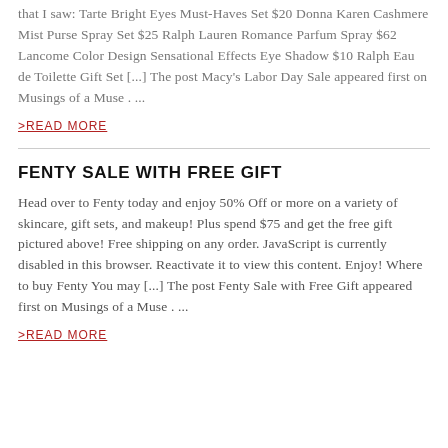that I saw: Tarte Bright Eyes Must-Haves Set $20 Donna Karen Cashmere Mist Purse Spray Set $25 Ralph Lauren Romance Parfum Spray $62 Lancome Color Design Sensational Effects Eye Shadow $10 Ralph Eau de Toilette Gift Set [...] The post Macy's Labor Day Sale appeared first on Musings of a Muse . ...
>READ MORE
FENTY SALE WITH FREE GIFT
Head over to Fenty today and enjoy 50% Off or more on a variety of skincare, gift sets, and makeup! Plus spend $75 and get the free gift pictured above! Free shipping on any order. JavaScript is currently disabled in this browser. Reactivate it to view this content. Enjoy! Where to buy Fenty You may [...] The post Fenty Sale with Free Gift appeared first on Musings of a Muse . ...
>READ MORE